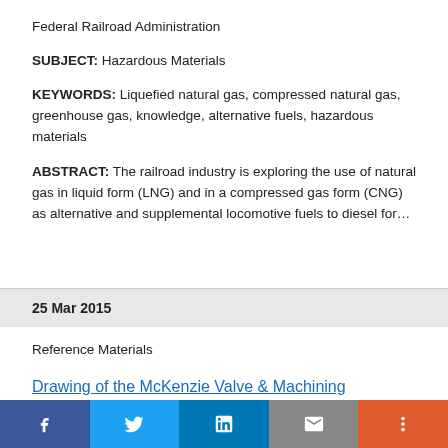Federal Railroad Administration
SUBJECT: Hazardous Materials
KEYWORDS: Liquefied natural gas, compressed natural gas, greenhouse gas, knowledge, alternative fuels, hazardous materials
ABSTRACT: The railroad industry is exploring the use of natural gas in liquid form (LNG) and in a compressed gas form (CNG) as alternative and supplemental locomotive fuels to diesel for...
25 Mar 2015
Reference Materials
Drawing of the McKenzie Valve & Machining